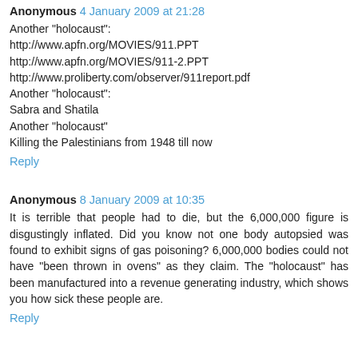Anonymous 4 January 2009 at 21:28
Another "holocaust":
http://www.apfn.org/MOVIES/911.PPT
http://www.apfn.org/MOVIES/911-2.PPT
http://www.proliberty.com/observer/911report.pdf
Another "holocaust":
Sabra and Shatila
Another "holocaust"
Killing the Palestinians from 1948 till now
Reply
Anonymous 8 January 2009 at 10:35
It is terrible that people had to die, but the 6,000,000 figure is disgustingly inflated. Did you know not one body autopsied was found to exhibit signs of gas poisoning? 6,000,000 bodies could not have "been thrown in ovens" as they claim. The "holocaust" has been manufactured into a revenue generating industry, which shows you how sick these people are.
Reply